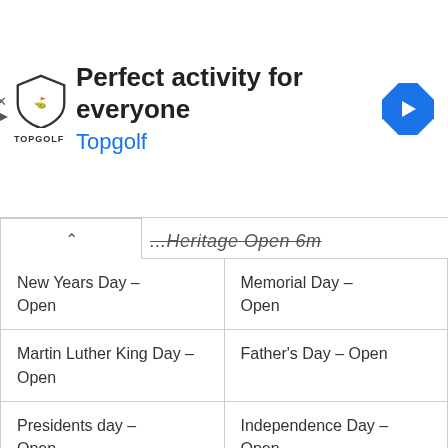[Figure (screenshot): Advertisement banner for Topgolf with shield logo, headline 'Perfect activity for everyone', subtext 'Topgolf' in blue, and blue diamond navigation arrow icon on the right]
...Heritage Open 6m...
| New Years Day – Open | Memorial Day – Open |
| Martin Luther King Day – Open | Father's Day – Open |
| Presidents day – Open | Independence Day – Open |
| Valentine's Day – Open | Labor Day – Open |
| Mardi Gras Fat Tuesday – Open | Columbus Day – Open |